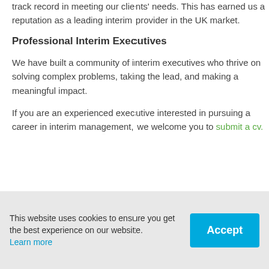track record in meeting our clients' needs. This has earned us a reputation as a leading interim provider in the UK market.
Professional Interim Executives
We have built a community of interim executives who thrive on solving complex problems, taking the lead, and making a meaningful impact.
If you are an experienced executive interested in pursuing a career in interim management, we welcome you to submit a cv.
What is interim management?
This website uses cookies to ensure you get the best experience on our website. Learn more
Accept